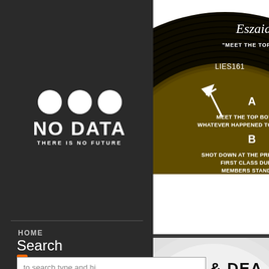[Figure (logo): No Data logo: three white circles above bold white text 'NO DATA' and smaller text 'THERE IS NO FUTURE' on dark background]
[Figure (photo): Vinyl record label for Eszaid 'Meet The Top Boys' LIES161 showing track listing: A side - MEET THE TOP BOYS, WHATEVER HAPPENED TO THE KN...; B side - SHOT DOWN AT THE PRINCE OF..., FIRST CLASS DUB, MEMBERS STAND]
HOME
Search
SUPPORT
to search type and hi
Subscribe via RSS
[Figure (photo): Vinyl record with 'NICE & DEA...' label visible, partially cropped at bottom right]